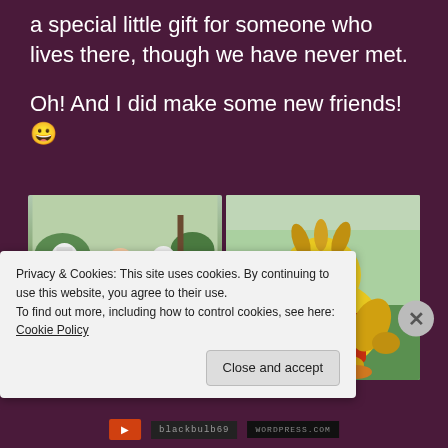a special little gift for someone who lives there, though we have never met.
Oh! And I did make some new friends! 😀
[Figure (photo): Two photos side by side: left shows a woman posing with Star Wars Stormtrooper and Jawa costumed characters at an outdoor event; right shows a yellow bird mascot in a red jersey numbered 00 sitting on grass.]
Privacy & Cookies: This site uses cookies. By continuing to use this website, you agree to their use.
To find out more, including how to control cookies, see here: Cookie Policy
Close and accept